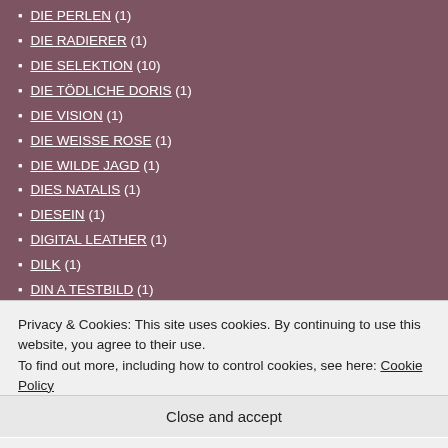DIE PERLEN (1)
DIE RADIERER (1)
DIE SELEKTION (10)
DIE TÖDLICHE DORIS (1)
DIE VISION (1)
DIE WEISSE ROSE (1)
DIE WILDE JAGD (1)
DIES NATALIS (1)
DIESEIN (1)
DIGITAL LEATHER (1)
DILK (1)
DIN A TESTBILD (1)
DINNER (1)
DINOSAUR JR. (1)
DIORAMA (3)
Privacy & Cookies: This site uses cookies. By continuing to use this website, you agree to their use. To find out more, including how to control cookies, see here: Cookie Policy
Close and accept